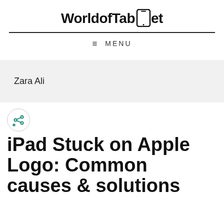WorldofTablet
≡ MENU
Zara Ali
[Figure (logo): Share button icon — teal share/network icon with a plus symbol inside a white circle]
iPad Stuck on Apple Logo: Common causes & solutions